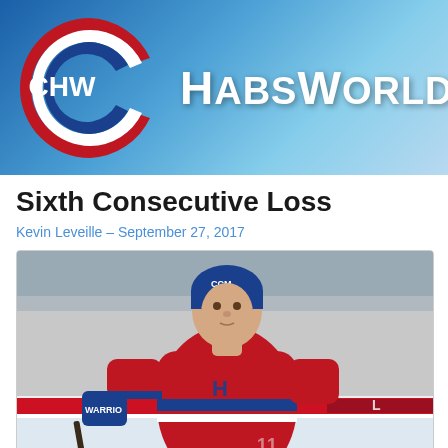[Figure (logo): HabsWorld website header banner with Montreal Canadiens CHW logo on left and HabsWorld. text on right, blue gradient background]
Sixth Consecutive Loss
Kevin Leveille – September 27, 2017
[Figure (photo): Montreal Canadiens hockey player in red jersey with blue helmet leaning forward on ice, wearing Warrior gloves, CCM helmet, rink boards visible in background]